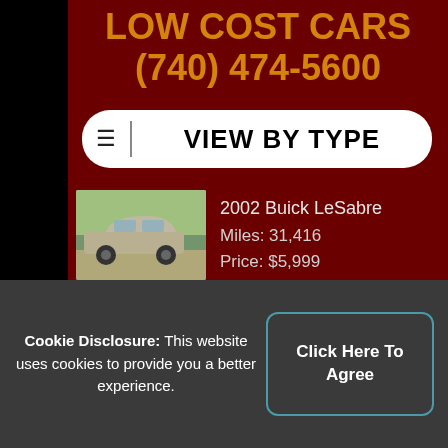LOW COST CARS (740) 474-5600
VIEW BY TYPE
2002 Buick LeSabre
Miles: 31,416
Price: $5,999
2002 Buick Rendezvous
Miles: 205,448
Price: $2,999
Cookie Disclosure: This website uses cookies to provide you a better experience. Click Here To Agree